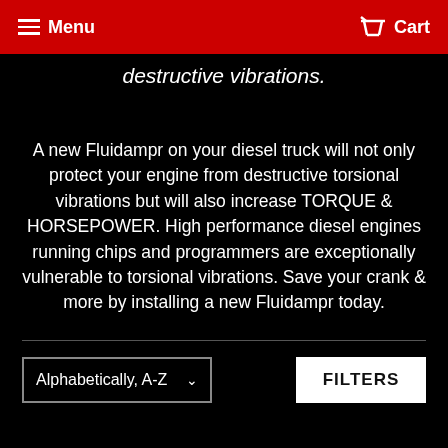Menu  Cart
destructive vibrations.
A new Fluidampr on your diesel truck will not only protect your engine from destructive torsional vibrations but will also increase TORQUE & HORSEPOWER. High performance diesel engines running chips and programmers are exceptionally vulnerable to torsional vibrations. Save your crank & more by installing a new Fluidampr today.
Alphabetically, A-Z
FILTERS